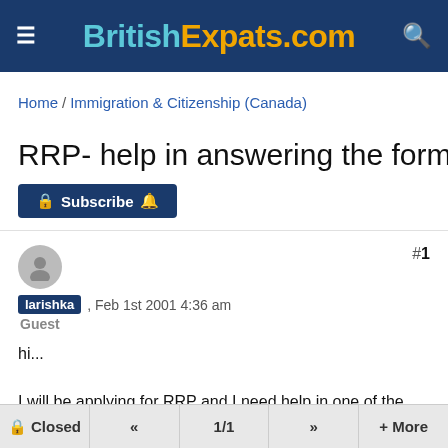BritishExpats.com
Home / Immigration & Citizenship (Canada)
RRP- help in answering the form
Subscribe
larishka , Feb 1st 2001 4:36 am
Guest
#1
hi...

I will be applying for RRP and I need help in one of the questions.
Closed  <<  1/1  >>  + More